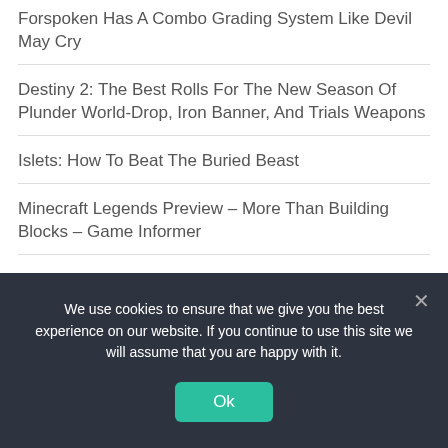Forspoken Has A Combo Grading System Like Devil May Cry
Destiny 2: The Best Rolls For The New Season Of Plunder World-Drop, Iron Banner, And Trials Weapons
Islets: How To Beat The Buried Beast
Minecraft Legends Preview – More Than Building Blocks – Game Informer
Islets: How To Beat The Tomb Of 1000 Spirits
Spragels Interview: How The Pokemon Unite
We use cookies to ensure that we give you the best experience on our website. If you continue to use this site we will assume that you are happy with it.